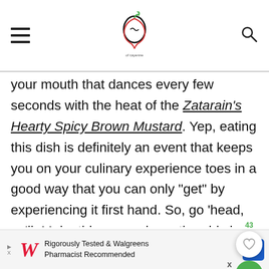[Hamburger menu icon] [Spicy logo] [Search icon]
your mouth that dances every few seconds with the heat of the Zatarain's Hearty Spicy Brown Mustard. Yep, eating this dish is definitely an event that keeps you on your culinary experience toes in a good way that you can only "get" by experiencing it first hand. So, go 'head, ya'll. Make this new spin on the old class a beloved new favorite. See you on the yum side...
[Figure (logo): Walgreens advertisement banner: Rigorously Tested & Walgreens Pharmacist Recommended]